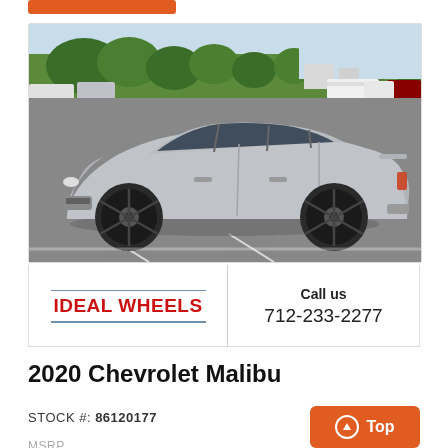[Figure (photo): Side profile photo of a silver 2020 Chevrolet Malibu with black wheels, parked in a dealership lot with trees and other cars in the background.]
IDEAL WHEELS
Call us
712-233-2277
2020 Chevrolet Malibu
STOCK #: 86120177
MSRP